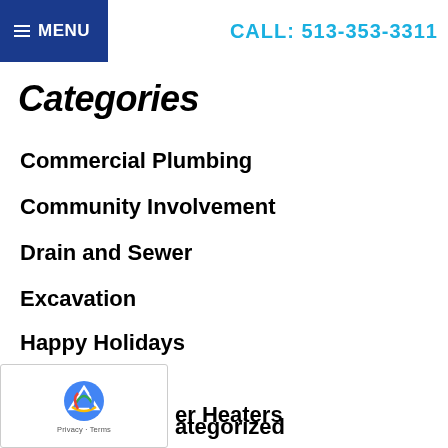MENU | CALL: 513-353-3311
Categories
Commercial Plumbing
Community Involvement
Drain and Sewer
Excavation
Happy Holidays
Plumbing
Uncategorized
Water Heaters